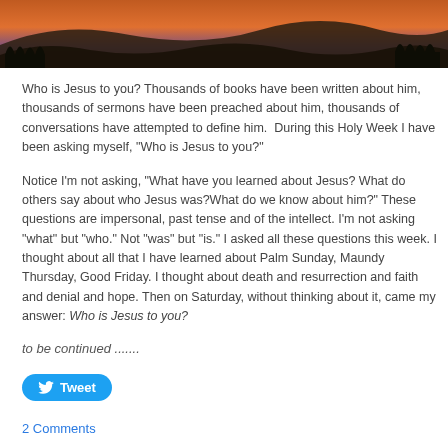[Figure (photo): Landscape photo of hills/mountains with a sunset sky in orange and purple tones, with dark silhouetted treeline]
Who is Jesus to you? Thousands of books have been written about him, thousands of sermons have been preached about him, thousands of conversations have attempted to define him. During this Holy Week I have been asking myself, "Who is Jesus to you?"
Notice I'm not asking, "What have you learned about Jesus? What do others say about who Jesus was?What do we know about him?" These questions are impersonal, past tense and of the intellect. I'm not asking "what" but "who." Not "was" but "is." I asked all these questions this week. I thought about all that I have learned about Palm Sunday, Maundy Thursday, Good Friday. I thought about death and resurrection and faith and denial and hope. Then on Saturday, without thinking about it, came my answer: Who is Jesus to you?
to be continued .......
[Figure (other): Tweet button (blue rounded rectangle with Twitter bird icon and 'Tweet' text)]
2 Comments